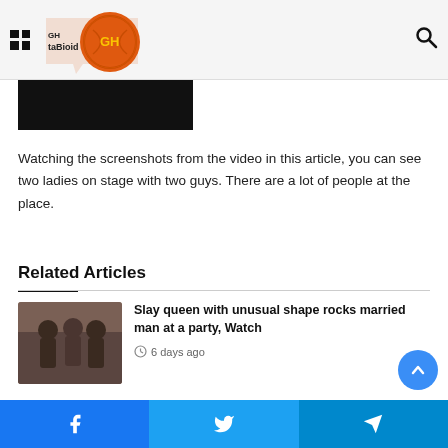[Figure (logo): GH Tabloid logo with orange cricket ball and yellow 'GH' text]
[Figure (photo): Dark/black image strip, partial view of article photo]
Watching the screenshots from the video in this article, you can see two ladies on stage with two guys. There are a lot of people at the place.
Related Articles
[Figure (photo): Thumbnail of people at an outdoor party]
Slay queen with unusual shape rocks married man at a party, Watch
6 days ago
[Figure (photo): Partial thumbnail of second related article, green background]
Nana Aba missing as celebrities storm...